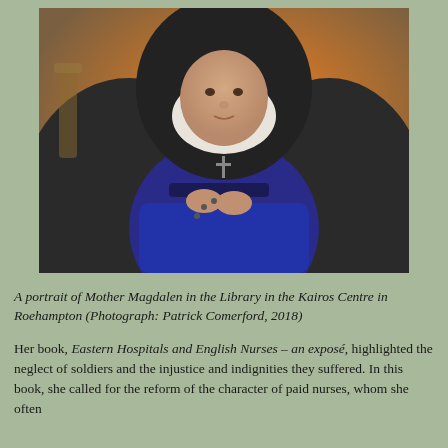[Figure (illustration): A painted portrait of Mother Magdalen, a nun wearing a black veil and habit with a white wimple and blue dress, holding rosary beads, depicted in a three-quarter pose against a warm amber/orange background.]
A portrait of Mother Magdalen in the Library in the Kairos Centre in Roehampton (Photograph: Patrick Comerford, 2018)
Her book, Eastern Hospitals and English Nurses – an exposé, highlighted the neglect of soldiers and the injustice and indignities they suffered. In this book, she called for the reform of the character of paid nurses, whom she often